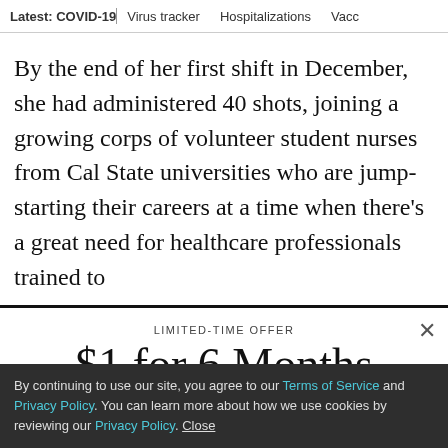Latest: COVID-19 | Virus tracker | Hospitalizations | Vacc
By the end of her first shift in December, she had administered 40 shots, joining a growing corps of volunteer student nurses from Cal State universities who are jump-starting their careers at a time when there's a great need for healthcare professionals trained to
LIMITED-TIME OFFER
$1 for 6 Months
SUBSCRIBE NOW
By continuing to use our site, you agree to our Terms of Service and Privacy Policy. You can learn more about how we use cookies by reviewing our Privacy Policy. Close